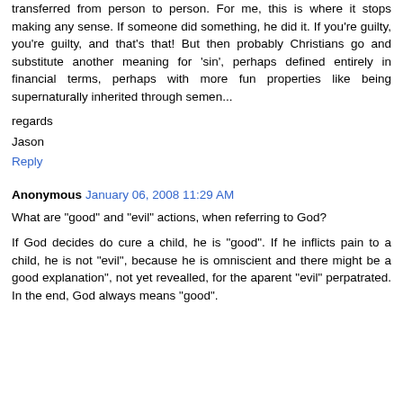transferred from person to person. For me, this is where it stops making any sense. If someone did something, he did it. If you're guilty, you're guilty, and that's that! But then probably Christians go and substitute another meaning for 'sin', perhaps defined entirely in financial terms, perhaps with more fun properties like being supernaturally inherited through semen...
regards
Jason
Reply
Anonymous  January 06, 2008 11:29 AM
What are "good" and "evil" actions, when referring to God?
If God decides do cure a child, he is "good". If he inflicts pain to a child, he is not "evil", because he is omniscient and there might be a good explanation", not yet revealled, for the aparent "evil" perpatrated. In the end, God always means "good".